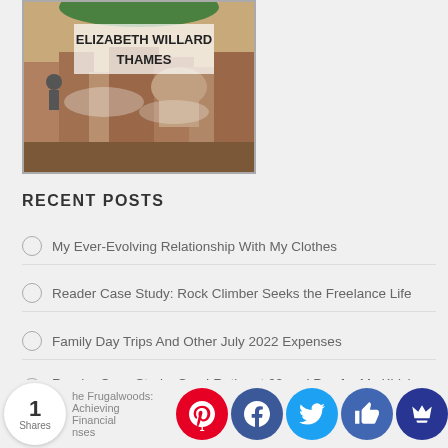[Figure (illustration): Book cover illustration showing a city scene with text 'ELIZABETH WILLARD THAMES' at the top]
RECENT POSTS
My Ever-Evolving Relationship With My Clothes
Reader Case Study: Rock Climber Seeks the Freelance Life
Family Day Trips And Other July 2022 Expenses
Reader Case Study: Can I Retire at 60 and Pay for My Kids' College?
The Frugalwoods: Achieving Financial Independence Through Simple Living and Other July 2022 Expenses
1 Shares